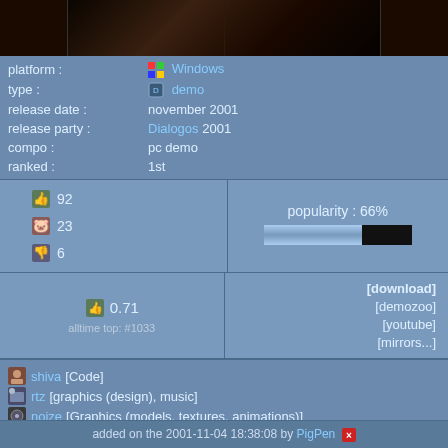[Figure (screenshot): Dark cinematic screenshot from a Windows demo]
platform : Windows
type : demo
release date : november 2001
release party : Dialogos 2001
compo : pc demo
ranked : 1st
92 thumbs up, 23 pig, 6 thumbs down
popularity : 66%
[Figure (infographic): Popularity bar showing 66% filled]
0.71 score, alltime top: #1033
[download] [demozoo] [youtube] [mirrors...]
shiva [Code]
rtz [graphics (design), music]
noize [Graphics (models, textures, animations)]
added on the 2001-11-04 18:38:08 by PigPen